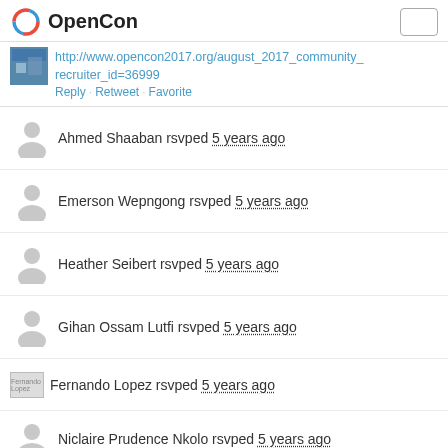OpenCon
http://www.opencon2017.org/august_2017_community_recruiter_id=36999
Reply · Retweet · Favorite
Ahmed Shaaban rsvped 5 years ago
Emerson Wepngong rsvped 5 years ago
Heather Seibert rsvped 5 years ago
Gihan Ossam Lutfi rsvped 5 years ago
Fernando Lopez rsvped 5 years ago
Niclaire Prudence Nkolo rsvped 5 years ago